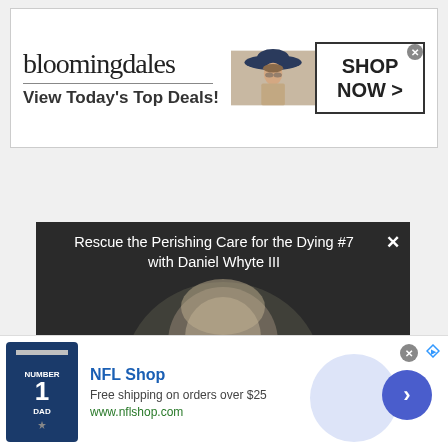[Figure (screenshot): Bloomingdale's banner advertisement with logo, 'View Today's Top Deals!' tagline, fashion model with hat, and 'SHOP NOW >' call-to-action button]
[Figure (screenshot): Video player showing 'Rescue the Perishing Care for the Dying #7 with Daniel Whyte III' with person looking down, dark background]
[Figure (screenshot): NFL Shop advertisement with jersey image, 'Free shipping on orders over $25', www.nflshop.com, and arrow button]